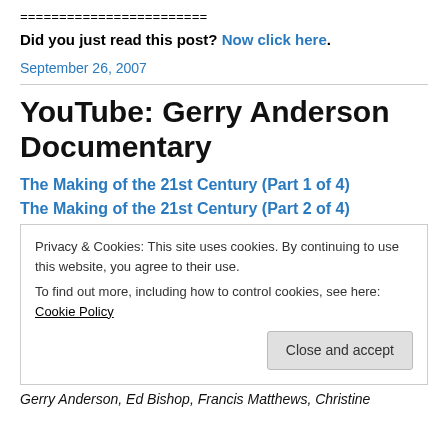========================
Did you just read this post? Now click here.
September 26, 2007
YouTube: Gerry Anderson Documentary
The Making of the 21st Century (Part 1 of 4)
The Making of the 21st Century (Part 2 of 4)
Privacy & Cookies: This site uses cookies. By continuing to use this website, you agree to their use.
To find out more, including how to control cookies, see here: Cookie Policy
Close and accept
Gerry Anderson, Ed Bishop, Francis Matthews, Christine